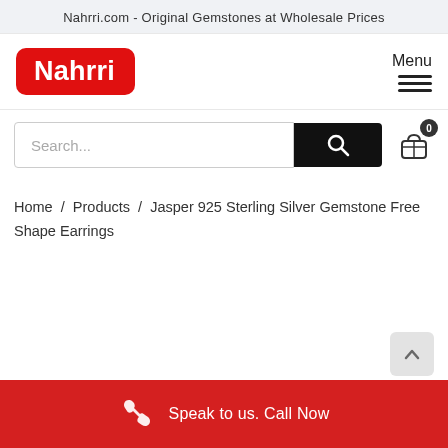Nahrri.com - Original Gemstones at Wholesale Prices
[Figure (logo): Nahrri logo: white text 'Nahrri' on red rounded rectangle background]
Menu
Search...
Home / Products / Jasper 925 Sterling Silver Gemstone Free Shape Earrings
Speak to us. Call Now